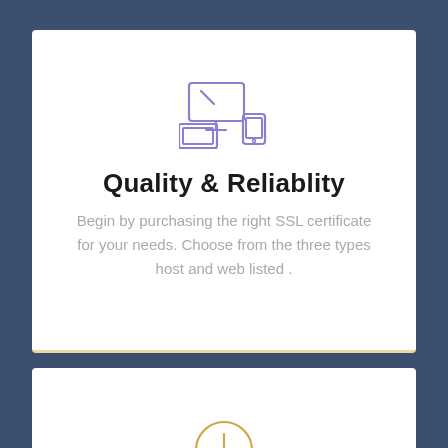[Figure (illustration): Purple outline icon of a desktop monitor, laptop, and tablet device grouped together]
Quality & Reliablity
Begin by purchasing the right SSL certificate for your needs. Choose from the three types host and web listed .
[Figure (illustration): Gold/yellow outline icon of a clock face with '24' text, representing 24-hour availability]